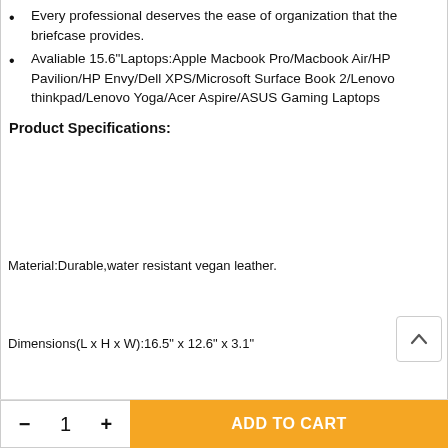Every professional deserves the ease of organization that the briefcase provides.
Avaliable 15.6"Laptops:Apple Macbook Pro/Macbook Air/HP Pavilion/HP Envy/Dell XPS/Microsoft Surface Book 2/Lenovo thinkpad/Lenovo Yoga/Acer Aspire/ASUS Gaming Laptops
Product Specifications:
Material:Durable,water resistant vegan leather.
Dimensions(L x H x W):16.5" x 12.6" x 3.1"